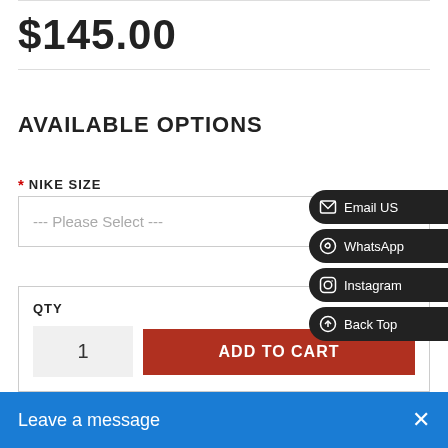$145.00
AVAILABLE OPTIONS
* NIKE SIZE
--- Please Select ---
QTY
1
ADD TO CART
Email US
WhatsApp
Instagram
Back Top
Leave a message